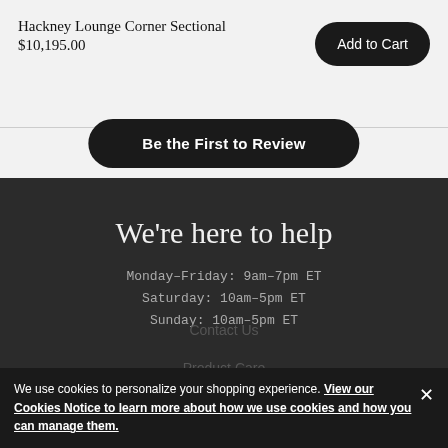Hackney Lounge Corner Sectional
$10,195.00
Add to Cart
Be the First to Review
We're here to help
Monday–Friday: 9am–7pm ET
Saturday: 10am–5pm ET
Sunday: 10am–5pm ET
Contact Us
Product Care
We use cookies to personalize your shopping experience. View our Cookies Notice to learn more about how we use cookies and how you can manage them.